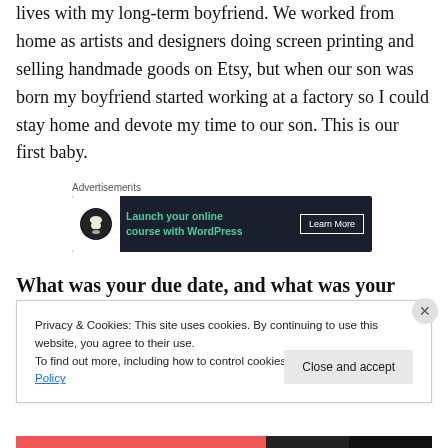lives with my long-term boyfriend. We worked from home as artists and designers doing screen printing and selling handmade goods on Etsy, but when our son was born my boyfriend started working at a factory so I could stay home and devote my time to our son. This is our first baby.
[Figure (other): Advertisement banner: dark background with tree/person icon, text 'Launch your online course with WordPress', 'Learn More' button]
What was your due date, and what was your baby's birth date?
Privacy & Cookies: This site uses cookies. By continuing to use this website, you agree to their use. To find out more, including how to control cookies, see here: Cookie Policy